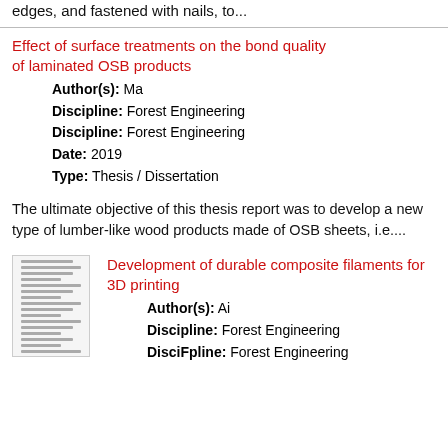edges, and fastened with nails, to...
Effect of surface treatments on the bond quality of laminated OSB products
Author(s): Ma
Discipline: Forest Engineering
Discipline: Forest Engineering
Date: 2019
Type: Thesis / Dissertation
The ultimate objective of this thesis report was to develop a new type of lumber-like wood products made of OSB sheets, i.e....
[Figure (illustration): Thumbnail image of a document page with horizontal text lines]
Development of durable composite filaments for 3D printing
Author(s): Ai
Discipline: Forest Engineering
Discipline: Forest Engineering